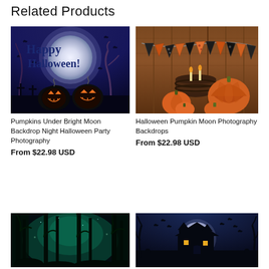Related Products
[Figure (photo): Halloween backdrop with happy halloween text, bright moon, bats, and jack-o-lanterns]
Pumpkins Under Bright Moon Backdrop Night Halloween Party Photography
From $22.98 USD
[Figure (photo): Halloween pumpkin photography backdrop with wooden wall background, bunting, and orange pumpkins]
Halloween Pumpkin Moon Photography Backdrops
From $22.98 USD
[Figure (photo): Spooky blue-green forest Halloween photography backdrop]
[Figure (photo): Halloween haunted house with bats and full moon photography backdrop]